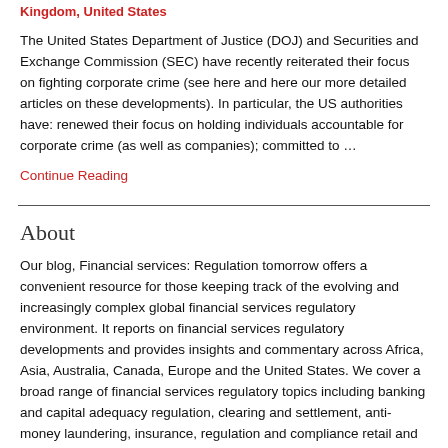Kingdom, United States
The United States Department of Justice (DOJ) and Securities and Exchange Commission (SEC) have recently reiterated their focus on fighting corporate crime (see here and here our more detailed articles on these developments). In particular, the US authorities have: renewed their focus on holding individuals accountable for corporate crime (as well as companies); committed to …
Continue Reading
About
Our blog, Financial services: Regulation tomorrow offers a convenient resource for those keeping track of the evolving and increasingly complex global financial services regulatory environment. It reports on financial services regulatory developments and provides insights and commentary across Africa, Asia, Australia, Canada, Europe and the United States. We cover a broad range of financial services regulatory topics including banking and capital adequacy regulation, clearing and settlement, anti-money laundering, insurance, regulation and compliance retail and wholesale conduct and securities regulation.